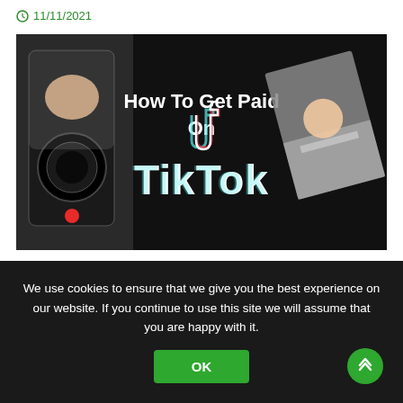11/11/2021
[Figure (screenshot): Thumbnail image for a TikTok tutorial video showing a person holding a camera on the left, 'How To Get Paid On TikTok' text in the center with the TikTok logo, and a person at a desk on the right, all on a black background.]
TikTok | How To Get Paid On TikTok – Exclusive Tutorial
27/07/2020
We use cookies to ensure that we give you the best experience on our website. If you continue to use this site we will assume that you are happy with it.